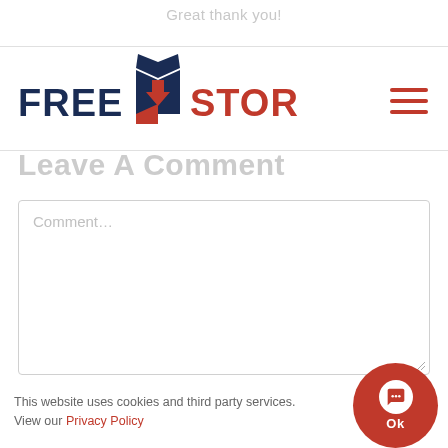Great thank you!
[Figure (logo): Free Up Storage logo with navy and red box icon and text]
Leave A Comment
Comment...
Name (required)
This website uses cookies and third party services. View our Privacy Policy
Email (required)